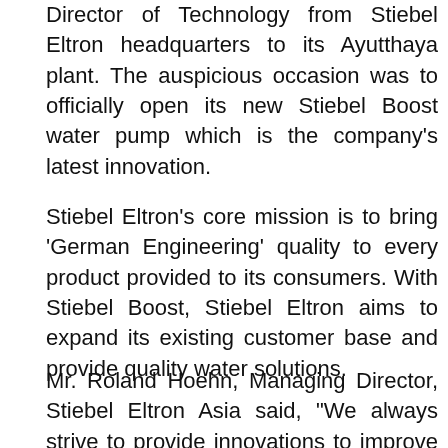Director of Technology from Stiebel Eltron headquarters to its Ayutthaya plant. The auspicious occasion was to officially open its new Stiebel Boost water pump which is the company's latest innovation.
Stiebel Eltron's core mission is to bring 'German Engineering' quality to every product provided to its consumers. With Stiebel Boost, Stiebel Eltron aims to expand its existing customer base and provide quality water solutions.
Mr. Roland Hoehn, Managing Director, Stiebel Eltron Asia said, "We always strive to provide innovations to improve our customers' daily tasks and I strongly believe that the Stiebel Boost is the perfect addition to our range of quality domestic water appliances. Our dedicated engineers and